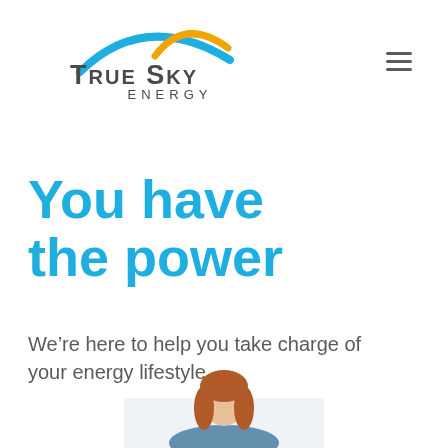[Figure (logo): True Sky Energy logo with blue and gold arc swoosh above the text TRUE SKY ENERGY]
You have the power
We’re here to help you take charge of your energy lifestyle.
[Figure (photo): Partial photo of a young girl at the bottom of the page]